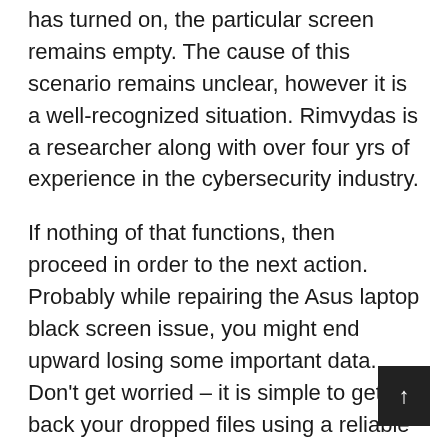has turned on, the particular screen remains empty. The cause of this scenario remains unclear, however it is a well-recognized situation. Rimvydas is a researcher along with over four yrs of experience in the cybersecurity industry.
If nothing of that functions, then proceed in order to the next action. Probably while repairing the Asus laptop black screen issue, you might end upward losing some important data. Don't get worried – it is simple to get back your dropped files using a reliable recovery device like Recoverit Information Recovery. The application is extremely easy to use and has one of the greatest success rates within the industry.